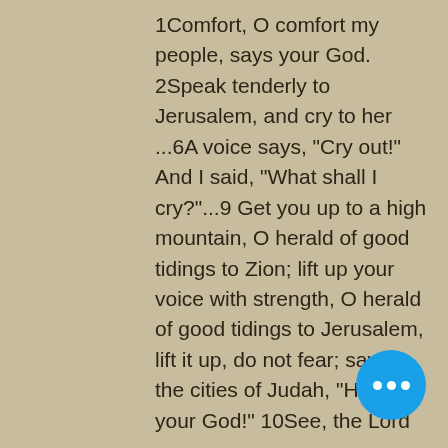1Comfort, O comfort my people, says your God. 2Speak tenderly to Jerusalem, and cry to her ...6A voice says, "Cry out!" And I said, "What shall I cry?"...9 Get you up to a high mountain, O herald of good tidings to Zion; lift up your voice with strength, O herald of good tidings to Jerusalem, lift it up, do not fear; say to the cities of Judah, "Here is your God!" 10See, the Lord GOD comes with might, and his arm rules for him; his reward is with him, and his recompense before him. 11He will feed his flock like a shepherd; he will gather the lambs in his arms, and carry them in his bosom, and gently lead the mother sheep.
[Figure (other): Blue circular chat/more-options button with three white dots]